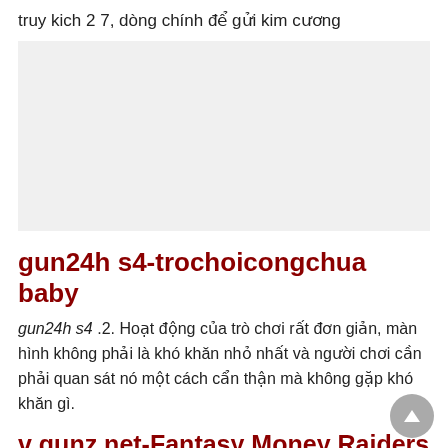truy kich 2 7, dòng chính để gửi kim cương
[Figure (other): Gray placeholder/advertisement box]
gun24h s4-trochoicongchua baby
gun24h s4 .2. Hoạt động của trò chơi rất đơn giản, màn hình không phải là khó khăn nhỏ nhất và người chơi cần phải quan sát nó một cách cẩn thận mà không gặp khó khăn gì.
v gunz.net-Fantasy Money Raiders
v gunz.net Fortune Stone Gate Full Finale Raiders.